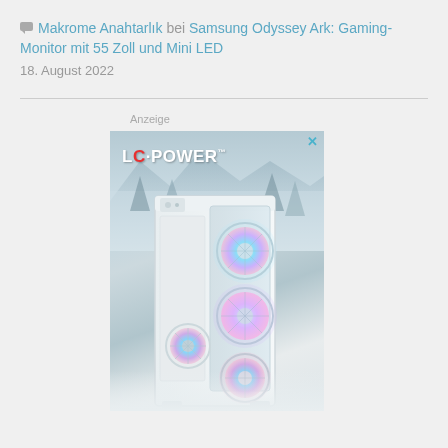Makrome Anahtarlık bei Samsung Odyssey Ark: Gaming-Monitor mit 55 Zoll und Mini LED
18. August 2022
[Figure (photo): Advertisement for LC Power showing a white gaming PC case with RGB fans against a snowy mountain background. The LC Power logo appears at the top left with an X close button at the top right.]